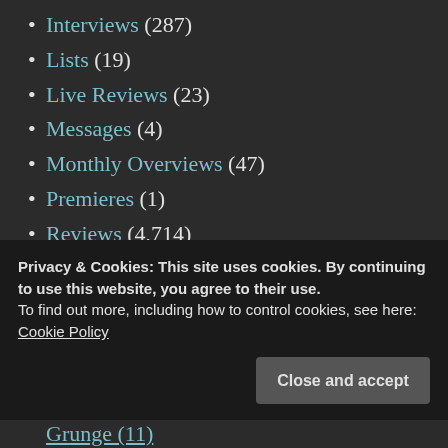Interviews (287)
Lists (19)
Live Reviews (23)
Messages (4)
Monthly Overviews (47)
Premieres (1)
Reviews (4,714)
Black metal (1,201)
Death Metal (1,334)
Doom (832)
Privacy & Cookies: This site uses cookies. By continuing to use this website, you agree to their use.
To find out more, including how to control cookies, see here:
Cookie Policy
Close and accept
Grunge (11)